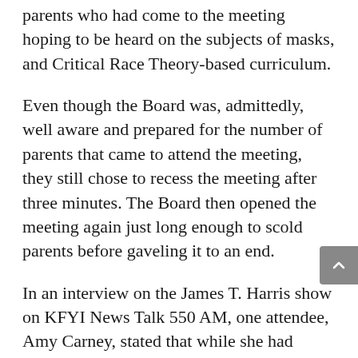parents who had come to the meeting hoping to be heard on the subjects of masks, and Critical Race Theory-based curriculum.
Even though the Board was, admittedly, well aware and prepared for the number of parents that came to attend the meeting, they still chose to recess the meeting after three minutes. The Board then opened the meeting again just long enough to scold parents before gaveling it to an end.
In an interview on the James T. Harris show on KFYI News Talk 550 AM, one attendee, Amy Carney, stated that while she had never attended a school board meeting before, the pandemic opened up many parents' eyes to what is happening in schools and what is not happening in schools.
Carney said questions about the Scottsdale district